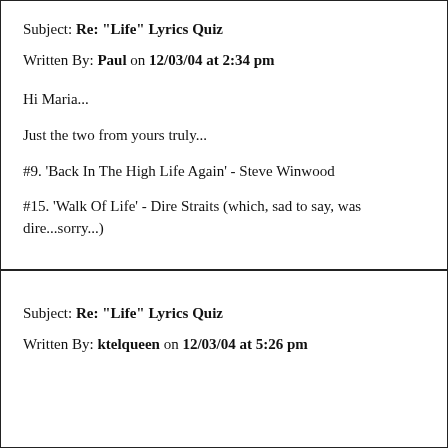Subject: Re: "Life" Lyrics Quiz
Written By: Paul on 12/03/04 at 2:34 pm
Hi Maria...
Just the two from yours truly...
#9. 'Back In The High Life Again' - Steve Winwood
#15. 'Walk Of Life' - Dire Straits (which, sad to say, was dire...sorry...)
Subject: Re: "Life" Lyrics Quiz
Written By: ktelqueen on 12/03/04 at 5:26 pm